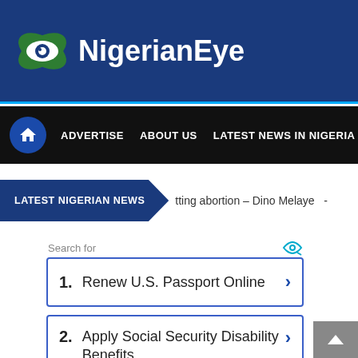NigerianEye
ADVERTISE   ABOUT US   LATEST NEWS IN NIGERIA   PO...
LATEST NIGERIAN NEWS
tting abortion – Dino Melaye  -
Search for
1. Renew U.S. Passport Online
2. Apply Social Security Disability Benefits